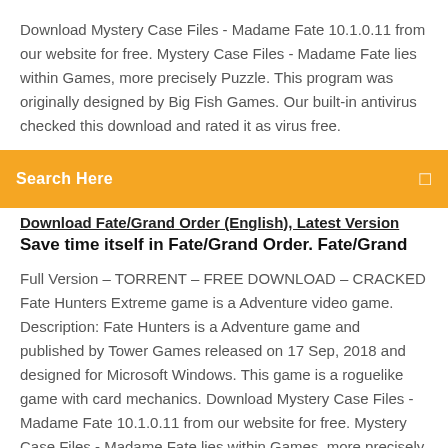Download Mystery Case Files - Madame Fate 10.1.0.11 from our website for free. Mystery Case Files - Madame Fate lies within Games, more precisely Puzzle. This program was originally designed by Big Fish Games. Our built-in antivirus checked this download and rated it as virus free.
Search Here
Save time itself in Fate/Grand Order. Fate/Grand
Full Version – TORRENT – FREE DOWNLOAD – CRACKED Fate Hunters Extreme game is a Adventure video game. Description: Fate Hunters is a Adventure game and published by Tower Games released on 17 Sep, 2018 and designed for Microsoft Windows. This game is a roguelike game with card mechanics. Download Mystery Case Files - Madame Fate 10.1.0.11 from our website for free. Mystery Case Files - Madame Fate lies within Games, more precisely Puzzle. This program was